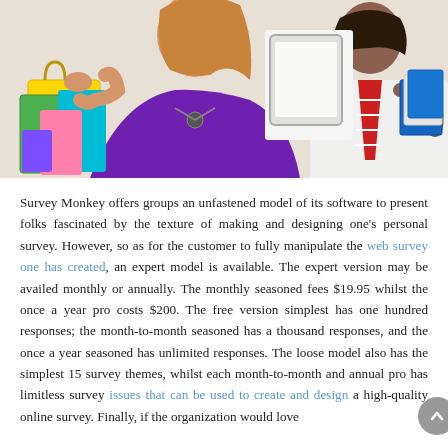[Figure (photo): Two people in a shopping/business context: a woman in a purple top holding colorful shopping bags on the left, and a person in a white shirt holding books/tablet with a striped tie on the right.]
Survey Monkey offers groups an unfastened model of its software to present folks fascinated by the texture of making and designing one's personal survey. However, so as for the customer to fully manipulate the web survey one has created, an expert model is available. The expert version may be availed monthly or annually. The monthly seasoned fees $19.95 whilst the once a year pro costs $200. The free version simplest has one hundred responses; the month-to-month seasoned has a thousand responses, and the once a year seasoned has unlimited responses. The loose model also has the simplest 15 survey themes, whilst each month-to-month and annual pro has limitless survey issues that can be used to create and design a high-quality online survey. Finally, if the organization would love